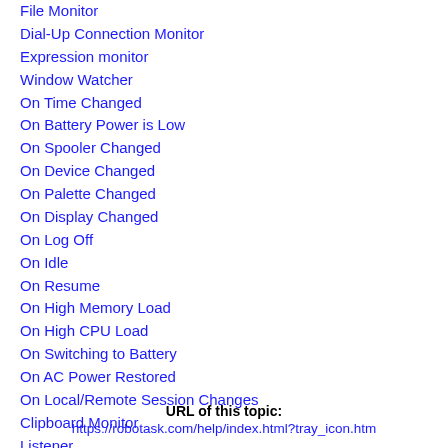File Monitor
Dial-Up Connection Monitor
Expression monitor
Window Watcher
On Time Changed
On Battery Power is Low
On Spooler Changed
On Device Changed
On Palette Changed
On Display Changed
On Log Off
On Idle
On Resume
On High Memory Load
On High CPU Load
On Switching to Battery
On AC Power Restored
On Local/Remote Session Changes
Clipboard Monitor
Listener
Pixels Monitor
Process Watcher
WebSocket Server On Message
WebSocket Client On Message
WebSocket Server On HTTP Request
URL of this topic:
https://robotask.com/help/index.html?tray_icon.htm